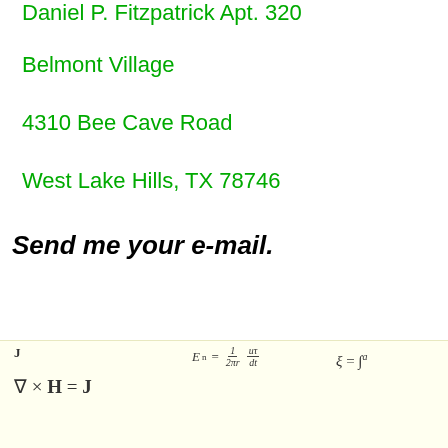Daniel P. Fitzpatrick Apt. 320
Belmont Village
4310 Bee Cave Road
West Lake Hills, TX 78746
Send me your e-mail.